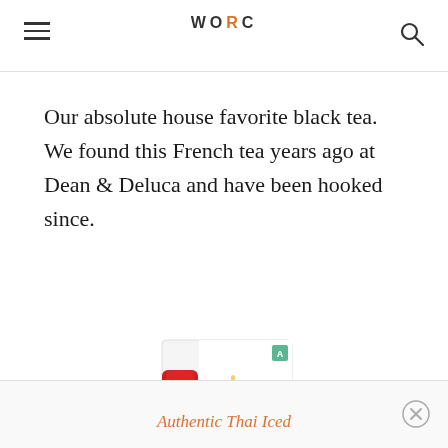WO RC
Our absolute house favorite black tea. We found this French tea years ago at Dean & Deluca and have been hooked since.
[Figure (photo): Product box of Authentic Thai Iced Tea with a red tube package on the left and an orange iced tea glass shown on the box]
Authentic Thai Iced